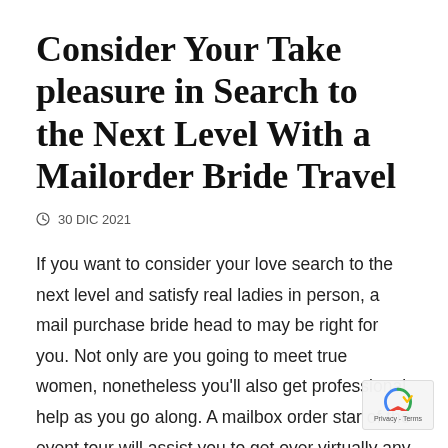Consider Your Take pleasure in Search to the Next Level With a Mailorder Bride Travel
30 DIC 2021
If you want to consider your love search to the next level and satisfy real ladies in person, a mail purchase bride head to may be right for you. Not only are you going to meet true women, nonetheless you'll also get professional help as you go along. A mailbox order star of the event tour will assist you to get over virtually any language hurdle that you may encounter by providing